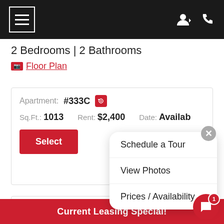Navigation bar with hamburger menu and user/phone icons
2 Bedrooms | 2 Bathrooms
Floor Plan
| Field | Value |
| --- | --- |
| Apartment: | #333C |
| Sq.Ft.: | 1013 |
| Rent: | $2,400 |
| Date: | Available |
Select
Schedule a Tour
View Photos
Prices / Availability
| Field | Value |
| --- | --- |
| Apartment: | #359C |
| Sq.Ft.: | 1013 |
| Rent: | $2,400 |
| Date: | Available |
Current Leasing Special!